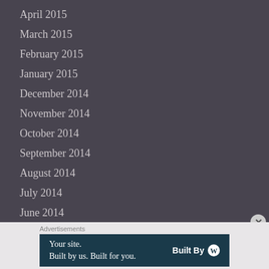April 2015
March 2015
February 2015
January 2015
December 2014
November 2014
October 2014
September 2014
August 2014
July 2014
June 2014
Advertisements
[Figure (other): Advertisement banner: 'Your site. Built by us. Built for you.' with WordPress Built By logo]